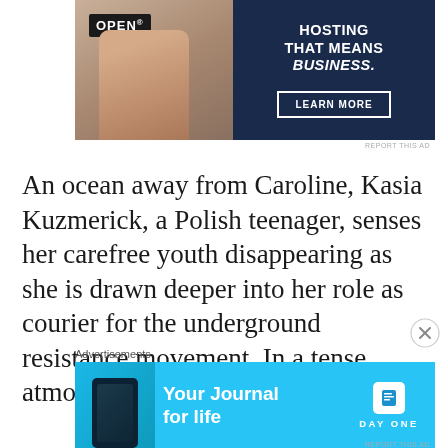[Figure (photo): Advertisement banner: photo of person holding an OPEN sign on left, dark navy background on right with text 'HOSTING THAT MEANS BUSINESS.' and a 'LEARN MORE' button]
REPORT THIS AD
An ocean away from Caroline, Kasia Kuzmerick, a Polish teenager, senses her carefree youth disappearing as she is drawn deeper into her role as courier for the underground resistance movement. In a tense atmosphere of watchful eyes and
Advertisements
[Figure (photo): Advertisement banner for Day One journal app: phone image on left, cyan/blue background, text 'Your Journal for life' and Day One logo on right]